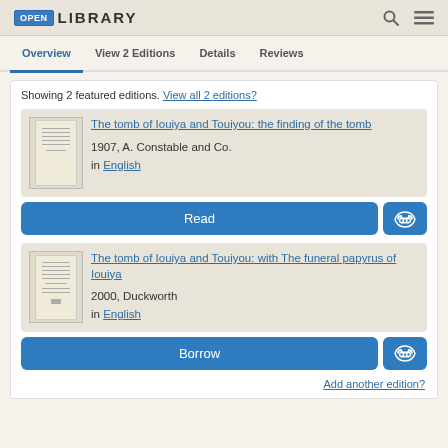OPEN LIBRARY
Overview | View 2 Editions | Details | Reviews
Showing 2 featured editions. View all 2 editions?
The tomb of Iouiya and Touiyou: the finding of the tomb
1907, A. Constable and Co.
in English
Read
The tomb of Iouiya and Touiyou: with The funeral papyrus of Iouiya
2000, Duckworth
in English
Borrow
Add another edition?